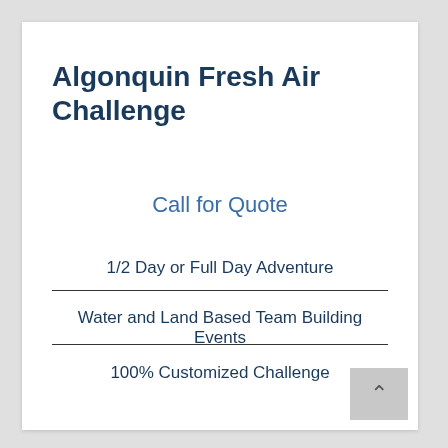Algonquin Fresh Air Challenge
Call for Quote
1/2 Day or Full Day Adventure
Water and Land Based Team Building Events
100% Customized Challenge